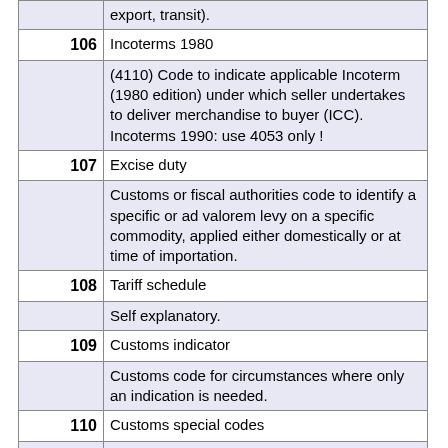| Code | Description |
| --- | --- |
|  | export, transit). |
| 106 | Incoterms 1980 |
|  | (4110) Code to indicate applicable Incoterm (1980 edition) under which seller undertakes to deliver merchandise to buyer (ICC). Incoterms 1990: use 4053 only ! |
| 107 | Excise duty |
|  | Customs or fiscal authorities code to identify a specific or ad valorem levy on a specific commodity, applied either domestically or at time of importation. |
| 108 | Tariff schedule |
|  | Self explanatory. |
| 109 | Customs indicator |
|  | Customs code for circumstances where only an indication is needed. |
| 110 | Customs special codes |
|  | Customs code to indicate an exemption to a regulation or a special Customs treatment. |
| *112 | Statistical nature of transaction |
|  | Indication of the type of contract under which goods are supplied. |
| 113 | Customs office |